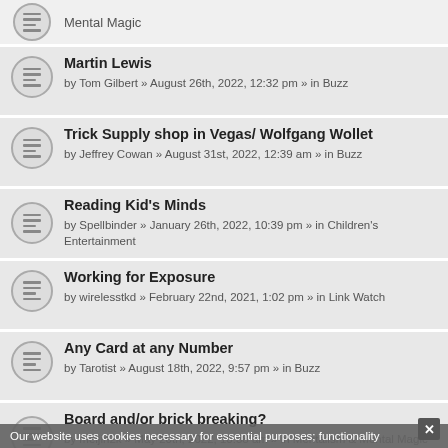Mental Magic
Martin Lewis by Tom Gilbert » August 26th, 2022, 12:32 pm » in Buzz
Trick Supply shop in Vegas/ Wolfgang Wollet by Jeffrey Cowan » August 31st, 2022, 12:39 am » in Buzz
Reading Kid's Minds by Spellbinder » January 26th, 2022, 10:39 pm » in Children's Entertainment
Working for Exposure by wirelesstkd » February 22nd, 2021, 1:02 pm » in Link Watch
Any Card at any Number by Tarotist » August 18th, 2022, 9:57 pm » in Buzz
Board and/or brick breaking? by meijin2k » May 20th, 2022, 10:38 am » in Mentalism & Mental Magic
Don't Miss Your Chance to Buy the Best "Dean's Box" Ever Made by Richard Kaufman » June 8th, 2022, 4:37 pm » in Buzz
Our website uses cookies necessary for essential purposes; functionality